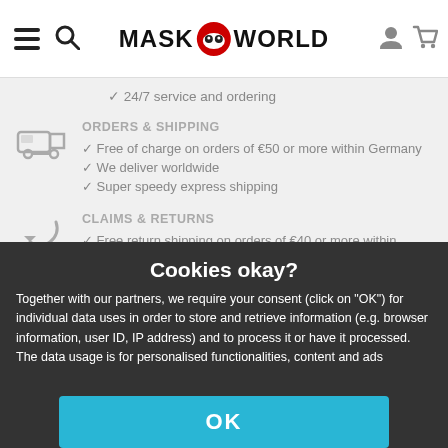MASK WORLD
✓ 24/7 service and ordering
ORDERS & SHIPPING
✓ Free of charge on orders of €50 or more within Germany
✓ We deliver worldwide
✓ Super speedy express shipping
CLAIMS & RETURNS
✓ Free return shipping on orders of €40 or more within Germany
Cookies okay?
Together with our partners, we require your consent (click on "OK") for individual data uses in order to store and retrieve information (e.g. browser information, user ID, IP address) and to process it or have it processed. The data usage is for personalised functionalities, content and ads
OK